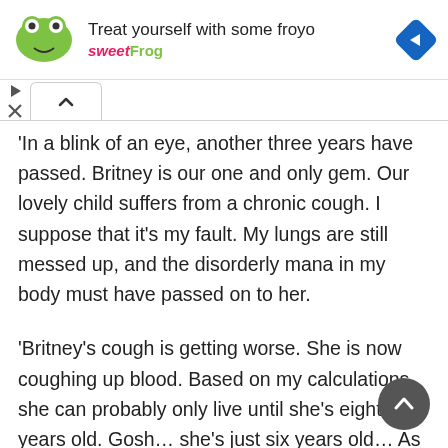[Figure (screenshot): sweetFrog advertisement banner: logo on left, 'Treat yourself with some froyo' heading, 'sweetFrog' brand name in teal, blue diamond navigation icon on right]
'In a blink of an eye, another three years have passed. Britney is our one and only gem. Our lovely child suffers from a chronic cough. I suppose that it's my fault. My lungs are still messed up, and the disorderly mana in my body must have passed on to her.
'Britney's cough is getting worse. She is now coughing up blood. Based on my calculations, she can probably only live until she's eight years old. Gosh… she's just six years old… As Britney